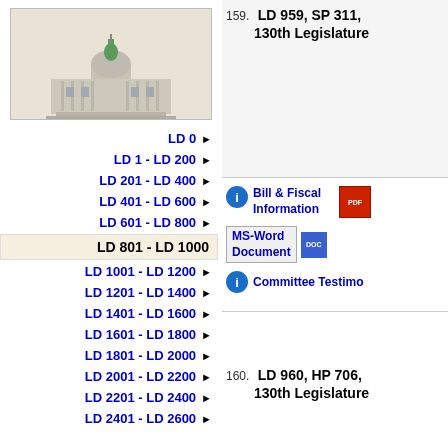[Figure (illustration): Capitol building illustration with green dome on beige/tan background]
LD 0 ▶
LD 1 - LD 200 ▶
LD 201 - LD 400 ▶
LD 401 - LD 600 ▶
LD 601 - LD 800 ▶
LD 801 - LD 1000 (active)
LD 1001 - LD 1200 ▶
LD 1201 - LD 1400 ▶
LD 1401 - LD 1600 ▶
LD 1601 - LD 1800 ▶
LD 1801 - LD 2000 ▶
LD 2001 - LD 2200 ▶
LD 2201 - LD 2400 ▶
LD 2401 - LD 2600 ▶
159. LD 959, SP 311, 130th Legislature
Bill & Fiscal Information
MS-Word Document
Committee Testimony
160. LD 960, HP 706, 130th Legislature